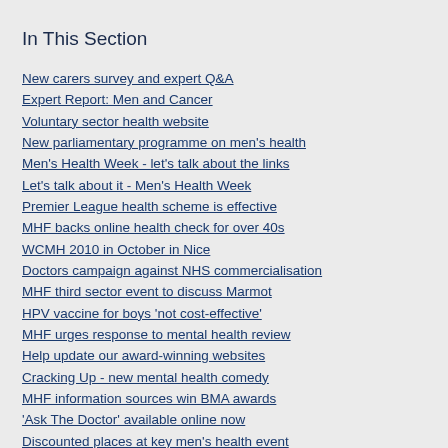In This Section
New carers survey and expert Q&A
Expert Report: Men and Cancer
Voluntary sector health website
New parliamentary programme on men's health
Men's Health Week - let's talk about the links
Let's talk about it - Men's Health Week
Premier League health scheme is effective
MHF backs online health check for over 40s
WCMH 2010 in October in Nice
Doctors campaign against NHS commercialisation
MHF third sector event to discuss Marmot
HPV vaccine for boys 'not cost-effective'
MHF urges response to mental health review
Help update our award-winning websites
Cracking Up - new mental health comedy
MHF information sources win BMA awards
'Ask The Doctor' available online now
Discounted places at key men's health event
All free MHW09 material now out of stock
MHF: the Drew Barrymore of health
High NHS staff sickness affects patient care
Criminalisation raises risk to sex workers
GP guidance on prostate screening updated
Gender 'barely mentioned' by Marmot